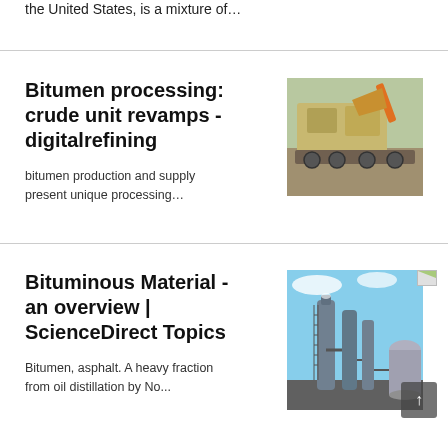the United States, is a mixture of…
Bitumen processing: crude unit revamps - digitalrefining
bitumen production and supply present unique processing…
[Figure (photo): Industrial heavy machinery/crusher on a trailer, yellowish-tan colored equipment]
Bituminous Material - an overview | ScienceDirect Topics
Bitumen, asphalt. A heavy fraction from oil distillation by No...
[Figure (photo): Industrial refinery/distillation columns and processing equipment, blue-sky background]